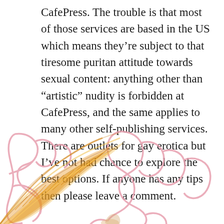CafePress. The trouble is that most of those services are based in the US which means they're subject to that tiresome puritan attitude towards sexual content: anything other than “artistic” nudity is forbidden at CafePress, and the same applies to many other self-publishing services. There are outlets for gay erotica but I’ve not had chance to explore the best options. If anyone has any tips then please leave a comment.
[Figure (illustration): Decorative illustration showing ornate curling golden/orange feather or wing forms against large pink outline letters in an Art Nouveau style.]